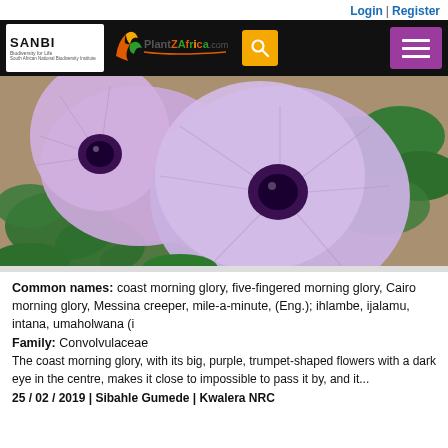Login | Register
[Figure (logo): SANBI and PlantZAfrica.com navigation bar with search and menu buttons]
[Figure (photo): Close-up photograph of coast morning glory (Ipomoea cairica) flowers — large pale purple/lavender trumpet-shaped blooms with dark purple centers, surrounded by green palmate leaves]
Common names: coast morning glory, five-fingered morning glory, Cairo morning glory, Messina creeper, mile-a-minute, (Eng.); ihlambe, ijalamu, intana, umaholwana (i
Family: Convolvulaceae
The coast morning glory, with its big, purple, trumpet-shaped flowers with a dark eye in the centre, makes it close to impossible to pass it by, and it...
25 / 02 / 2019 | Sibahle Gumede | Kwalera NRC